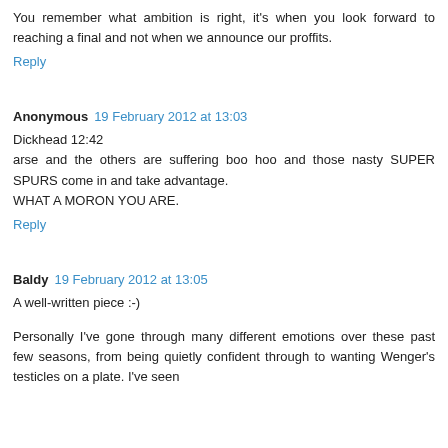You remember what ambition is right, it's when you look forward to reaching a final and not when we announce our proffits.
Reply
Anonymous  19 February 2012 at 13:03
Dickhead 12:42
arse and the others are suffering boo hoo and those nasty SUPER SPURS come in and take advantage.
WHAT A MORON YOU ARE.
Reply
Baldy  19 February 2012 at 13:05
A well-written piece :-)
Personally I've gone through many different emotions over these past few seasons, from being quietly confident through to wanting Wenger's testicles on a plate. I've seen